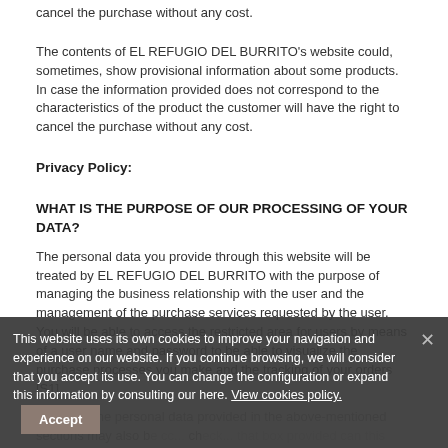cancel the purchase without any cost.
The contents of EL REFUGIO DEL BURRITO's website could, sometimes, show provisional information about some products. In case the information provided does not correspond to the characteristics of the product the customer will have the right to cancel the purchase without any cost.
Privacy Policy:
WHAT IS THE PURPOSE OF OUR PROCESSING OF YOUR DATA?
The personal data you provide through this website will be treated by EL REFUGIO DEL BURRITO with the purpose of managing the business relationship with the user and the management of the purchase services requested by the user. You will be able to access the restricted area for users by means of a user name and password to be able to visualize the purchase processes you make and the tracking of your orders [S1]
Likewise, the personal data provided in the above-mentioned sections may also b... (obscured by cookie banner)
This website uses its own cookies to improve your navigation and experience on our website. If you continue browsing, we will consider that you accept its use. You can change the configuration or expand this information by consulting our here. View cookies policy. Accept